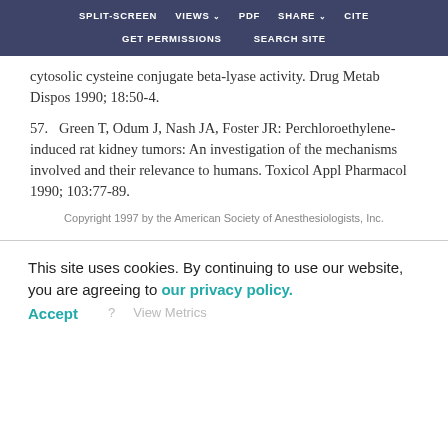SPLIT-SCREEN   VIEWS   PDF   SHARE   CITE   GET PERMISSIONS   SEARCH SITE
cytosolic cysteine conjugate beta-lyase activity. Drug Metab Dispos 1990; 18:50-4.
57.   Green T, Odum J, Nash JA, Foster JR: Perchloroethylene-induced rat kidney tumors: An investigation of the mechanisms involved and their relevance to humans. Toxicol Appl Pharmacol 1990; 103:77-89.
Copyright 1997 by the American Society of Anesthesiologists, Inc.
This site uses cookies. By continuing to use our website, you are agreeing to our privacy policy. Accept